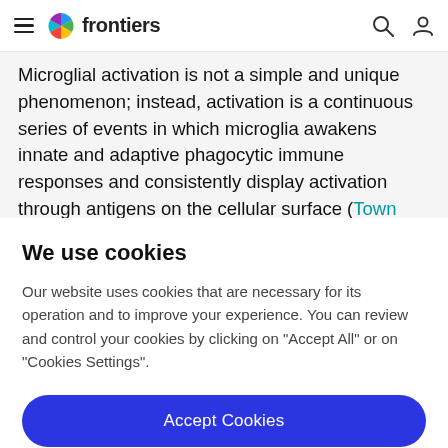frontiers
Microglial activation is not a simple and unique phenomenon; instead, activation is a continuous series of events in which microglia awakens innate and adaptive phagocytic immune responses and consistently display activation through antigens on the cellular surface (Town
We use cookies
Our website uses cookies that are necessary for its operation and to improve your experience. You can review and control your cookies by clicking on "Accept All" or on "Cookies Settings".
Accept Cookies
Cookies Settings